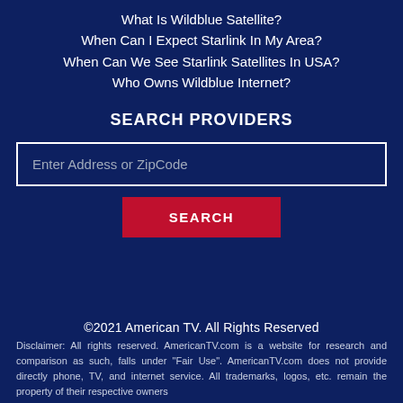What Is Wildblue Satellite?
When Can I Expect Starlink In My Area?
When Can We See Starlink Satellites In USA?
Who Owns Wildblue Internet?
SEARCH PROVIDERS
Enter Address or ZipCode
SEARCH
©2021 American TV. All Rights Reserved
Disclaimer: All rights reserved. AmericanTV.com is a website for research and comparison as such, falls under "Fair Use". AmericanTV.com does not provide directly phone, TV, and internet service. All trademarks, logos, etc. remain the property of their respective owners